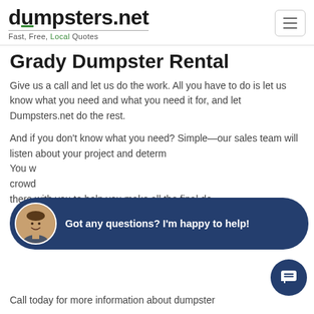dumpsters.net — Fast, Free, Local Quotes
Grady Dumpster Rental
Give us a call and let us do the work. All you have to do is let us know what you need and what you need it for, and let Dumpsters.net do the rest.
And if you don't know what you need? Simple—our sales team will listen about your project and determine the right dumpster size for your project. You won't feel lost in the crowd with us, as your sales representative will be there with you to help you make all the final decisions.
[Figure (other): Chat widget overlay with avatar photo of a man smiling, dark blue pill-shaped background, text: Got any questions? I'm happy to help!]
Call today for more information about dumpster